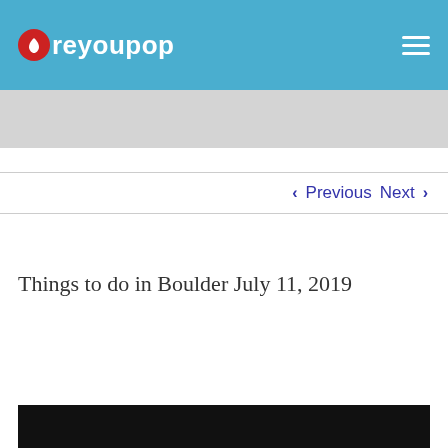Areyoupop
< Previous   Next >
Things to do in Boulder July 11, 2019
[Figure (photo): Black image placeholder at the bottom of the page]